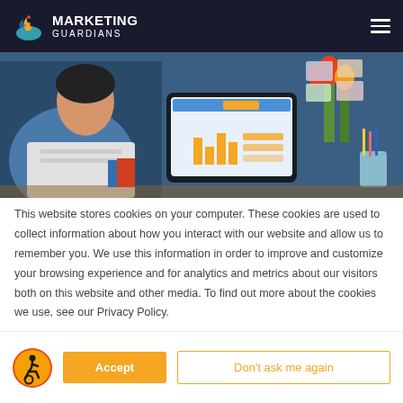[Figure (logo): Marketing Guardians logo with flame/wave swirl icon and white text on dark navy background, hamburger menu icon top right]
[Figure (photo): Person looking at a tablet/computer screen showing a analytics dashboard with charts, flowers in background, colorful sticky notes on wall]
This website stores cookies on your computer. These cookies are used to collect information about how you interact with our website and allow us to remember you. We use this information in order to improve and customize your browsing experience and for analytics and metrics about our visitors both on this website and other media. To find out more about the cookies we use, see our Privacy Policy.
[Figure (logo): Orange circle accessibility icon with person in wheelchair]
Accept
Don't ask me again